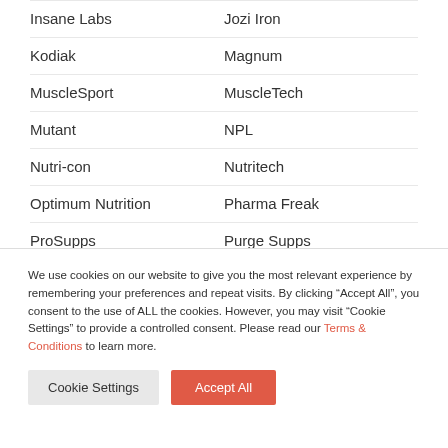Insane Labs
Jozi Iron
Kodiak
Magnum
MuscleSport
MuscleTech
Mutant
NPL
Nutri-con
Nutritech
Optimum Nutrition
Pharma Freak
ProSupps
Purge Supps
Supplements SA
TNT
Universal
We use cookies on our website to give you the most relevant experience by remembering your preferences and repeat visits. By clicking “Accept All”, you consent to the use of ALL the cookies. However, you may visit “Cookie Settings” to provide a controlled consent. Please read our Terms & Conditions to learn more.